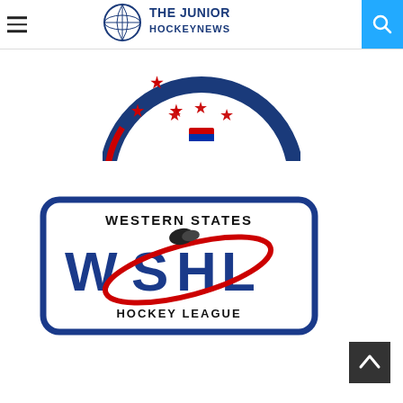THE JUNIOR HOCKEYNEWS — navigation header with hamburger menu and search icon
[Figure (logo): Partial circular international hockey tournament logo showing colorful national flag stripes (yellow, blue, red, white) in a ring with stars in the center, partially cropped at top]
[Figure (logo): Western States Hockey League (WSHL) logo: rounded rectangle border in dark blue, text 'WESTERN STATES' at top, large 'WSHL' letters in blue with red swoosh/orbit graphic and hockey puck, 'HOCKEY LEAGUE' text at bottom]
[Figure (other): Dark back-to-top arrow button in bottom right corner]